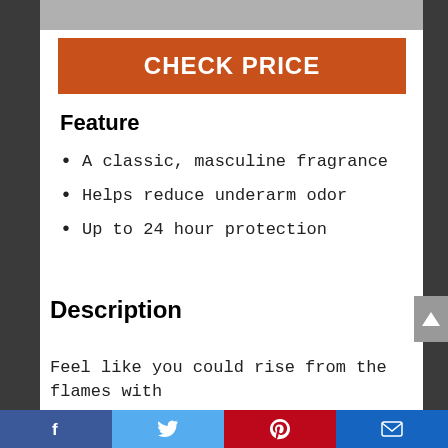[Figure (photo): Partial product image at top of page, grey placeholder]
CHECK PRICE
Feature
A classic, masculine fragrance
Helps reduce underarm odor
Up to 24 hour protection
Description
Feel like you could rise from the flames with
Facebook | Twitter | Pinterest | Email